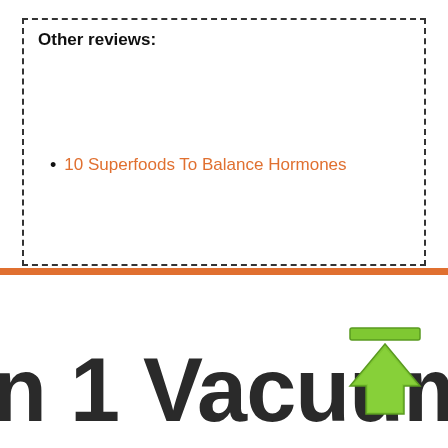Other reviews:
10 Superfoods To Balance Hormones
n 1 Vacuum Seale
[Figure (illustration): Green upward arrow icon with a horizontal green bar on top, resembling an upload button]